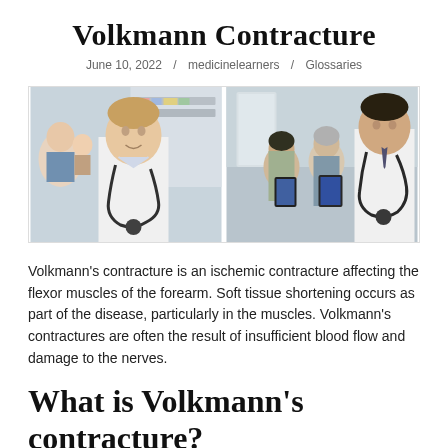Volkmann Contracture
June 10, 2022 / medicinelearners / Glossaries
[Figure (photo): Two side-by-side medical photos: left shows a smiling male doctor with stethoscope and a mother holding a child in background; right shows a male doctor with stethoscope reviewing a tablet with two female medical staff.]
Volkmann’s contracture is an ischemic contracture affecting the flexor muscles of the forearm. Soft tissue shortening occurs as part of the disease, particularly in the muscles. Volkmann’s contractures are often the result of insufficient blood flow and damage to the nerves.
What is Volkmann’s contracture?